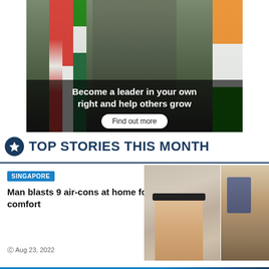[Figure (photo): Advertisement banner showing a man in military uniform standing in front of international flags including Thailand, Singapore, Pakistan, and India flags. Overlay text reads 'Become a leader in your own right and help others grow' with a 'Find out more' button.]
TOP STORIES THIS MONTH
[Figure (photo): Two photos side by side: left shows a hand palm facing up with a fitness tracker wristband, right shows a person bending over in what appears to be a kitchen or store.]
SINGAPORE
Man blasts 9 air-cons at home for comfort
Aug 23, 2022